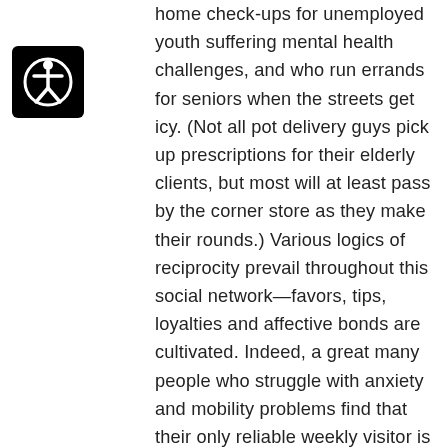[Figure (logo): Accessibility icon: white stick figure in a circle on a black rounded square background]
home check-ups for unemployed youth suffering mental health challenges, and who run errands for seniors when the streets get icy. (Not all pot delivery guys pick up prescriptions for their elderly clients, but most will at least pass by the corner store as they make their rounds.) Various logics of reciprocity prevail throughout this social network—favors, tips, loyalties and affective bonds are cultivated. Indeed, a great many people who struggle with anxiety and mobility problems find that their only reliable weekly visitor is their pot delivery person. This emissary from the outside world will, it's true, only talk to you if you buy pot, but he makes house calls, and doesn't pro-rate all conversation such that the experience alone costs you fifty bucks. (There is nothing a bourgeois therapist can possibly offer a